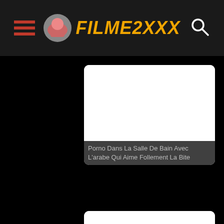FILMEZXXX
[Figure (screenshot): Video thumbnail placeholder (white rectangle) for first card]
Porno Dans La Salle De Bain Avec L'arabe Qui Aime Follement La Bite
[Figure (screenshot): Video thumbnail placeholder (white rectangle) for second card]
Gaywire - Beau-Père Aide Son Fils À Étudier \u0026 Comma;
[Figure (screenshot): Video thumbnail placeholder (white rectangle) for third partial card]